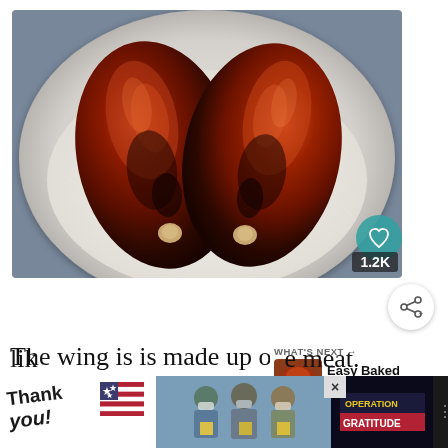[Figure (photo): Two large baked/glazed turkey wings with dark reddish-brown glaze served on a white plate with white rice, viewed from above. A heart/like button showing 1.2K is overlaid at bottom right of image.]
The wing is is made up of 3 parts: the drumette, the wingette, and the wing tip. The drumette looks like a small drumstick, with a single bone surrounded by meat. It...
[Figure (photo): WHAT'S NEXT → Easy Baked Turkey Wings promotional box with thumbnail photo of turkey wings]
[Figure (photo): Advertisement banner: Thank you with American flag motif on left, Operation Gratitude with group photo of people in center, close button X on right]